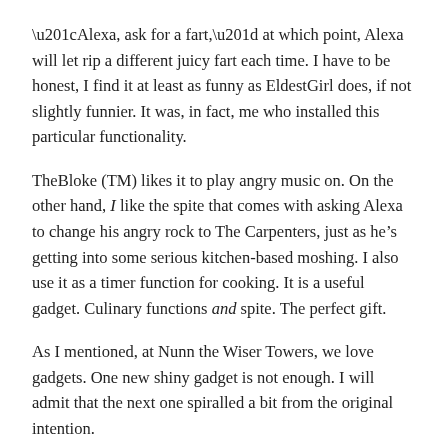“Alexa, ask for a fart,” at which point, Alexa will let rip a different juicy fart each time. I have to be honest, I find it at least as funny as EldestGirl does, if not slightly funnier. It was, in fact, me who installed this particular functionality.
TheBloke (TM) likes it to play angry music on. On the other hand, I like the spite that comes with asking Alexa to change his angry rock to The Carpenters, just as he’s getting into some serious kitchen-based moshing. I also use it as a timer function for cooking. It is a useful gadget. Culinary functions and spite. The perfect gift.
As I mentioned, at Nunn the Wiser Towers, we love gadgets. One new shiny gadget is not enough. I will admit that the next one spiralled a bit from the original intention.
1. YoungestGirl drops a lot of food when she eats.
2. Our big vacuum cleaner is a faff to get out and put